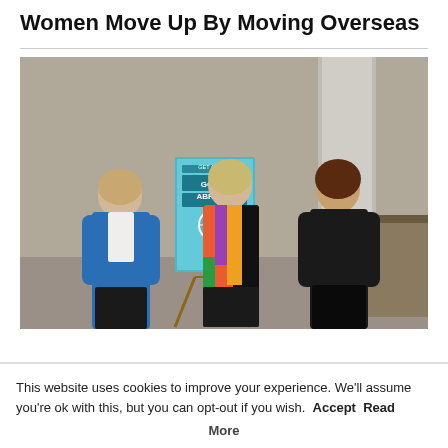Women Move Up By Moving Overseas
[Figure (photo): Three women standing in a room in front of an easel displaying a book cover titled 'Get Ahead Going Abroad'. The woman on the left wears a blue blazer, the woman in the center wears a colorful patterned jacket over a black dress, and the woman on the right wears a black outfit. The background shows a grey wall and a column.]
This website uses cookies to improve your experience. We'll assume you're ok with this, but you can opt-out if you wish.
Accept
Read More